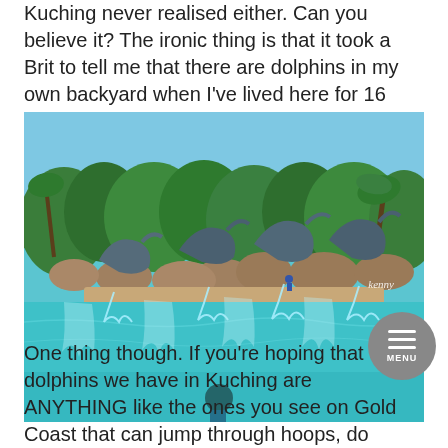Kuching never realised either. Can you believe it? The ironic thing is that it took a Brit to tell me that there are dolphins in my own backyard when I've lived here for 16 years of my life. How embarrassing right?
[Figure (photo): Photograph of a dolphin show at an aquatic park. Multiple dolphins are leaping out of a turquoise pool in unison, with trainers standing on a platform behind them. The background shows lush tropical trees, palm trees, and large rocks/boulders. Water splashes in arcs from the dolphins. A watermark 'kenny' appears in the lower right. A person in a dark cap is visible at the bottom center.]
One thing though. If you're hoping that the dolphins we have in Kuching are ANYTHING like the ones you see on Gold Coast that can jump through hoops, do